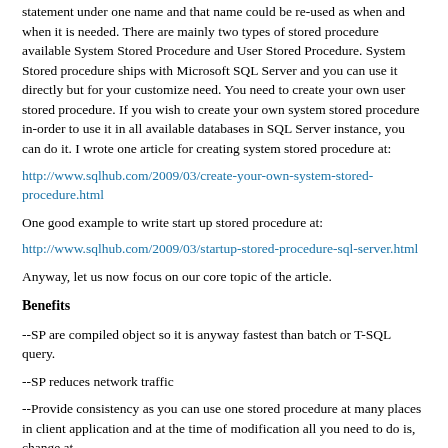statement under one name and that name could be re-used as when and when it is needed. There are mainly two types of stored procedure available System Stored Procedure and User Stored Procedure. System Stored procedure ships with Microsoft SQL Server and you can use it directly but for your customize need. You need to create your own user stored procedure. If you wish to create your own system stored procedure in-order to use it in all available databases in SQL Server instance, you can do it. I wrote one article for creating system stored procedure at:
http://www.sqlhub.com/2009/03/create-your-own-system-stored-procedure.html
One good example to write start up stored procedure at:
http://www.sqlhub.com/2009/03/startup-stored-procedure-sql-server.html
Anyway, let us now focus on our core topic of the article.
Benefits
--SP are compiled object so it is anyway fastest than batch or T-SQL query.
--SP reduces network traffic
--Provide consistency as you can use one stored procedure at many places in client application and at the time of modification all you need to do is, change at